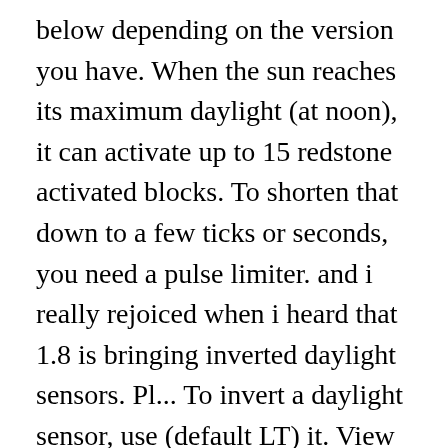below depending on the version you have. When the sun reaches its maximum daylight (at noon), it can activate up to 15 redstone activated blocks. To shorten that down to a few ticks or seconds, you need a pulse limiter. and i really rejoiced when i heard that 1.8 is bringing inverted daylight sensors. Pl... To invert a daylight sensor, use (default LT) it. View discussions in 1 other ... This is the Minecraft daylight sensor recipe. To make a daylight sensor, place 3 glass, 3 nether quartz, and 3 wood slabs in the 3x3 crafting grid. The number of times it will ring in a day is dependent on the sensor's maximum light level. This design makes use of a daylight sensor, which means daylight will need to be